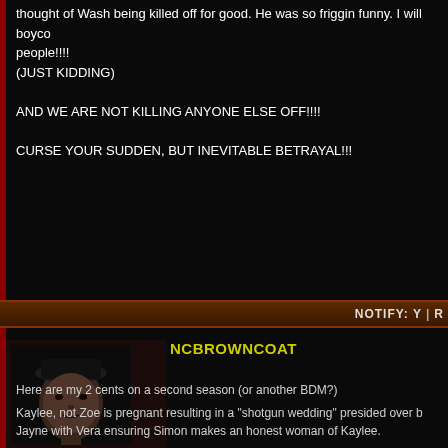thought of Wash being killed off for good. He was so friggin funny. I will boyco... people!!!!
(JUST KIDDING)

AND WE ARE NOT KILLING ANYONE ELSE OFF!!!!

CURSE YOUR SUDDEN, BUT INEVITABLE BETRAYAL!!!
NOTIFY: Y  |  R...
[Figure (photo): Avatar photo of a man wearing a dark hat, dimly lit, dark background]
NCBROWNCOAT
Here are my 2 cents on a second season (or another BDM?)

Kaylee, not Zoe is pregnant resulting in a "shotgun wedding" presided over b... Jayne with Vera ensuring Simon makes an honest woman of Kaylee.

Simon is more than a bit overwhelmed with his new responsibilities. Now he... also his new family. He almost has a breakdown from the stress.

Fun does ensue when Mal and Jayne take care of the baby.

River and Jayne form an odd friendship that sets Simon off further.